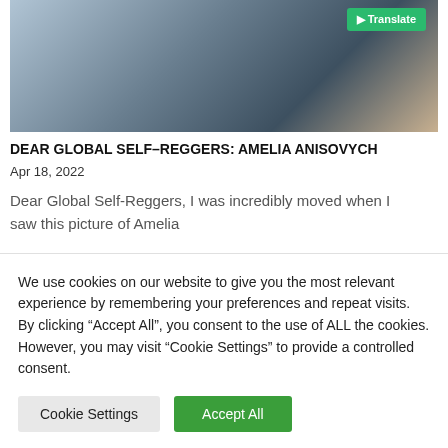[Figure (photo): Photograph of a child in a black shirt, partial face visible, background shows shelves and colorful wall. A 'Translate' button overlay appears in the top-right corner of the image.]
DEAR GLOBAL SELF-REGGERS: AMELIA ANISOVYCH
Apr 18, 2022
Dear Global Self-Reggers, I was incredibly moved when I saw this picture of Amelia
We use cookies on our website to give you the most relevant experience by remembering your preferences and repeat visits. By clicking “Accept All”, you consent to the use of ALL the cookies. However, you may visit “Cookie Settings” to provide a controlled consent.